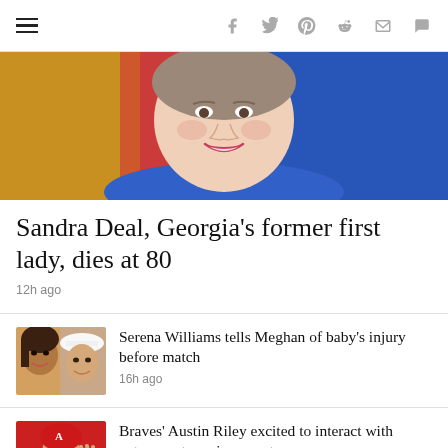Navigation bar with hamburger menu and social share icons: facebook, twitter, pinterest, reddit, mail, comment
[Figure (photo): Close-up photo of an older woman smiling, wearing a blue jacket, with colorful background]
Sandra Deal, Georgia's former first lady, dies at 80
12h ago
[Figure (photo): Thumbnail showing two women side by side, one with long hair, one in a white hat]
Serena Williams tells Meghan of baby's injury before match
16h ago
[Figure (photo): Thumbnail of a baseball player in Atlanta Braves uniform waving]
Braves' Austin Riley excited to interact with veterans at coming event
14h ago